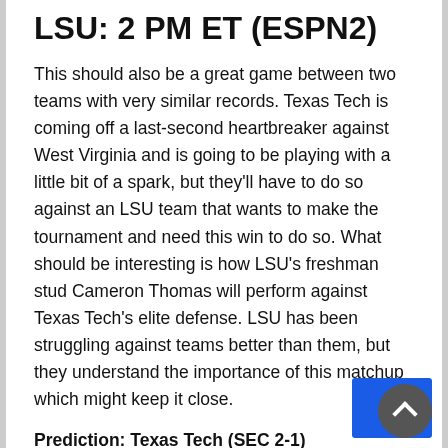LSU: 2 PM ET (ESPN2)
This should also be a great game between two teams with very similar records. Texas Tech is coming off a last-second heartbreaker against West Virginia and is going to be playing with a little bit of a spark, but they'll have to do so against an LSU team that wants to make the tournament and need this win to do so. What should be interesting is how LSU's freshman stud Cameron Thomas will perform against Texas Tech's elite defense. LSU has been struggling against teams better than them, but they understand the importance of this matchup which might keep it close.
Prediction: Texas Tech (SEC 2-1)